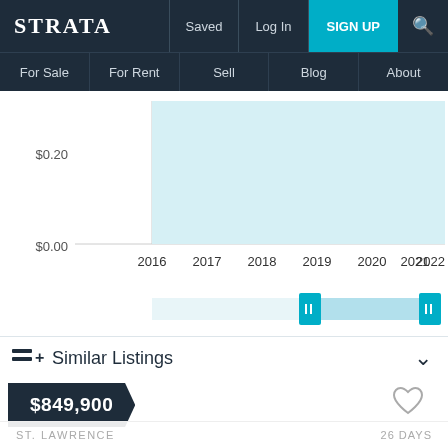STRATA  Saved  Log In  SIGN UP
For Sale  For Rent  Sell  Blog  About
[Figure (area-chart): Area chart showing price history from 2016 to 2022 with y-axis labels $0.00 and $0.20, light blue shaded area]
[Figure (other): Range selector bar with two teal handles showing selected date range on the price history chart]
Similar Listings
$849,900
ST. LAWRENCE  26 DAYS